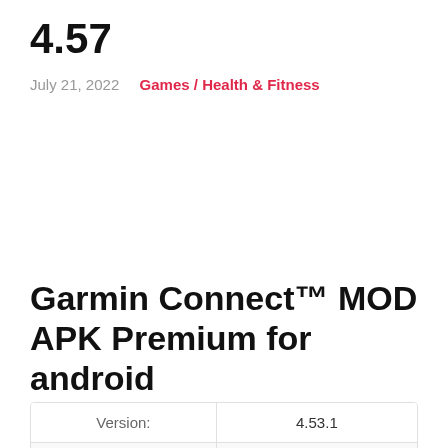4.57
July 21, 2022   Games / Health & Fitness
Garmin Connect™ MOD APK Premium for android
| Version: | Updated: |
| --- | --- |
| Version: | 4.53.1 |
| Updated: | April 18, 2022 |